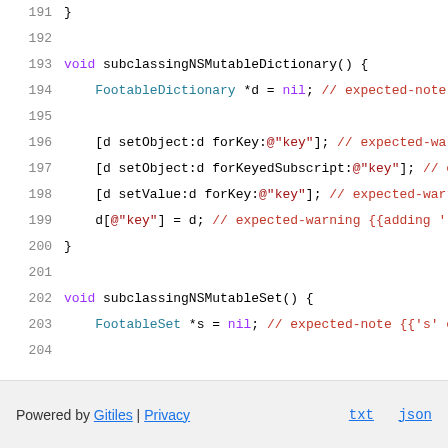Source code listing lines 191-207: subclassingNSMutableDictionary and subclassingNSMutableSet functions in Objective-C
Powered by Gitiles | Privacy    txt  json